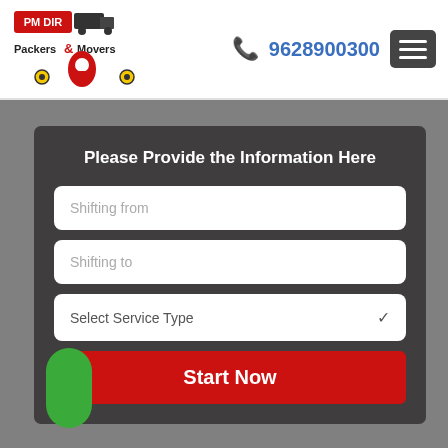[Figure (logo): PM DIR Packers and Movers logo with truck icon]
9628900300
Please Provide the Information Here
Shifting from
Shifting to
Select Service Type
Start Now